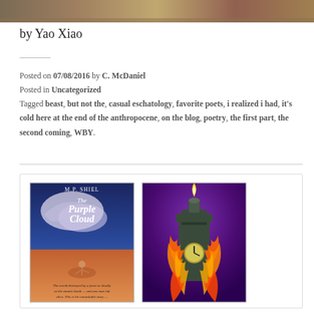[Figure (illustration): Top decorative banner image with artistic illustration in warm earth tones]
by Yao Xiao
Posted on 07/08/2016 by C. McDaniel
Posted in Uncategorized
Tagged beast, but not the, casual eschatology, favorite poets, i realized i had, it's cold here at the end of the anthropocene, on the blog, poetry, the first part, the second coming, WBY.
[Figure (illustration): Gallery box containing two book cover images: 'The Purple Cloud' by M.P. Shiel on the left, and a burning clock tower illustration on the right]